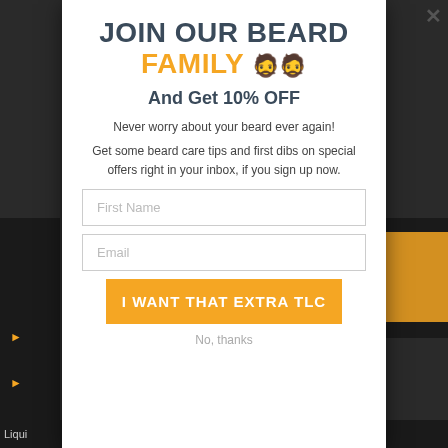JOIN OUR BEARD FAMILY 🧔🧔
And Get 10% OFF
Never worry about your beard ever again!
Get some beard care tips and first dibs on special offers right in your inbox, if you sign up now.
First Name
Email
I WANT THAT EXTRA TLC
No, thanks